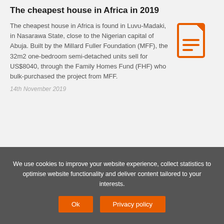The cheapest house in Africa in 2019
The cheapest house in Africa is found in Luvu-Madaki, in Nasarawa State, close to the Nigerian capital of Abuja. Built by the Millard Fuller Foundation (MFF), the 32m2 one-bedroom semi-detached units sell for US$8040, through the Family Homes Fund (FHF) who bulk-purchased the project from MFF.
[Figure (illustration): Orange document/file icon with lines representing text]
14th November 2019
We use cookies to improve your website experience, collect statistics to optimise website functionality and deliver content tailored to your interests.